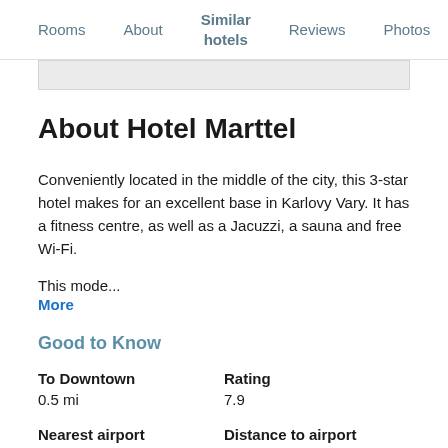Rooms   About   Similar hotels   Reviews   Photos   Loca…
About Hotel Marttel
Conveniently located in the middle of the city, this 3-star hotel makes for an excellent base in Karlovy Vary. It has a fitness centre, as well as a Jacuzzi, a sauna and free Wi-Fi.
This mode...
More
Good to Know
| To Downtown | Rating |
| --- | --- |
| 0.5 mi | 7.9 |
| Nearest airport | Distance to airport |
| --- | --- |